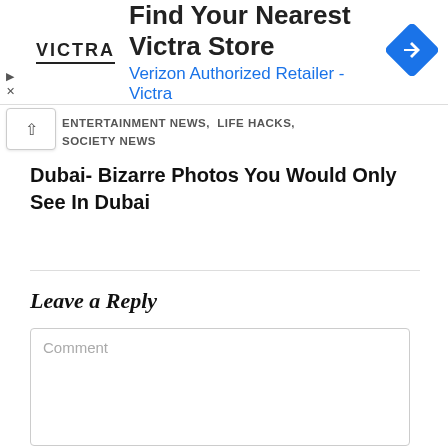[Figure (screenshot): Victra advertisement banner: 'Find Your Nearest Victra Store / Verizon Authorized Retailer - Victra' with Victra logo and blue navigation icon]
ENTERTAINMENT NEWS, LIFE HACKS, SOCIETY NEWS
Dubai- Bizarre Photos You Would Only See In Dubai
Leave a Reply
Comment